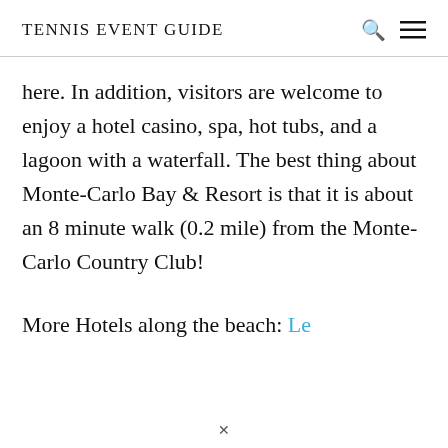TENNIS EVENT GUIDE
here. In addition, visitors are welcome to enjoy a hotel casino, spa, hot tubs, and a lagoon with a waterfall. The best thing about Monte-Carlo Bay & Resort is that it is about an 8 minute walk (0.2 mile) from the Monte-Carlo Country Club!
More Hotels along the beach: Le